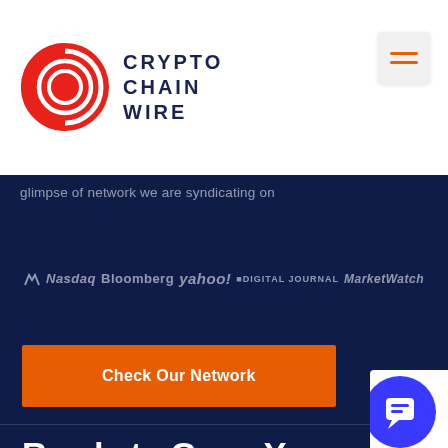[Figure (logo): CryptoChainWire logo with red circular target icon and bold dark blue text reading CRYPTO CHAIN WIRE]
[Figure (other): Hamburger menu icon (three orange horizontal lines) on light grey square background]
glimpse of network we are syndicating on
[Figure (infographic): Row of media partner logos: Nasdaq, Bloomberg, yahoo!, DIGITAL JOURNAL, MarketWatch, shown in muted white on dark navy background]
Check Our Network
Ready to Grow Your Business?
[Figure (other): Blue circular chat/support button icon in white box at bottom right corner]